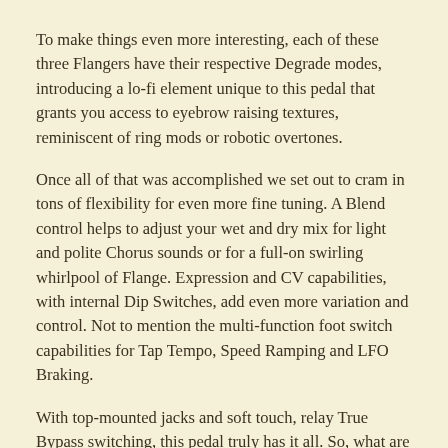To make things even more interesting, each of these three Flangers have their respective Degrade modes, introducing a lo-fi element unique to this pedal that grants you access to eyebrow raising textures, reminiscent of ring mods or robotic overtones.
Once all of that was accomplished we set out to cram in tons of flexibility for even more fine tuning. A Blend control helps to adjust your wet and dry mix for light and polite Chorus sounds or for a full-on swirling whirlpool of Flange. Expression and CV capabilities, with internal Dip Switches, add even more variation and control. Not to mention the multi-function foot switch capabilities for Tap Tempo, Speed Ramping and LFO Braking.
With top-mounted jacks and soft touch, relay True Bypass switching, this pedal truly has it all. So, what are you waiting for? Jump on into the sea of the OBLIVION, where growing layers of waves filled with the push and pull of the